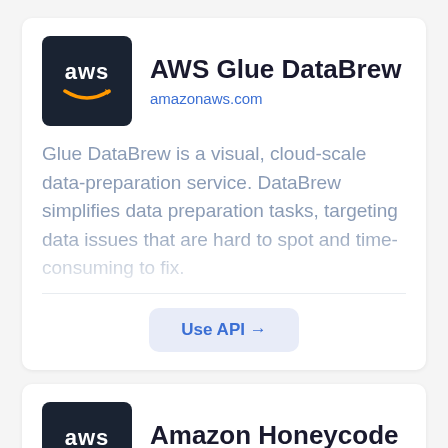AWS Glue DataBrew
amazonaws.com
Glue DataBrew is a visual, cloud-scale data-preparation service. DataBrew simplifies data preparation tasks, targeting data issues that are hard to spot and time-consuming to fix.
Use API →
Amazon Honeycode
amazonaws.com